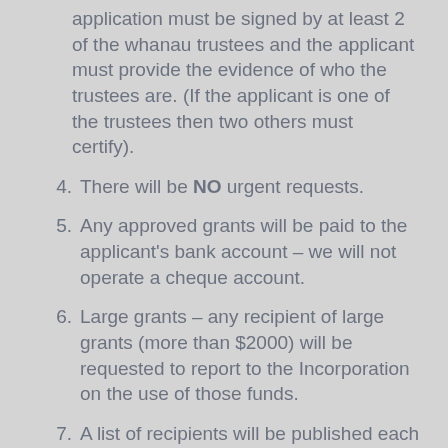(continuation) application must be signed by at least 2 of the whanau trustees and the applicant must provide the evidence of who the trustees are. (If the applicant is one of the trustees then two others must certify).
4. There will be NO urgent requests.
5. Any approved grants will be paid to the applicant’s bank account – we will not operate a cheque account.
6. Large grants – any recipient of large grants (more than $2000) will be requested to report to the Incorporation on the use of those funds.
7. A list of recipients will be published each year in the Annual report – all recipients who apply